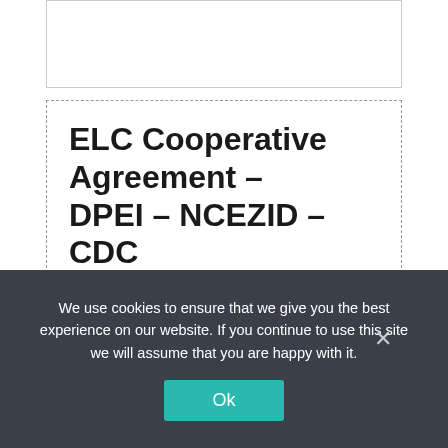ELC Cooperative Agreement – DPEI – NCEZID – CDC
https://tinyurl.com/y859ozmh
Epidemiology and Laboratory Capacity (ELC) Cooperative Agreement page. The ELC program is part of the CDC/NCEZID DIvision of Preparedness and Emerging …
We use cookies to ensure that we give you the best experience on our website. If you continue to use this site we will assume that you are happy with it.